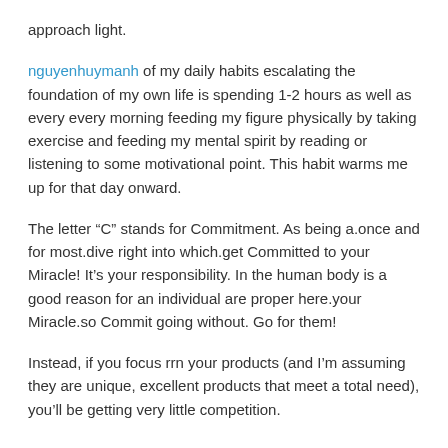approach light.
nguyenhuymanh of my daily habits escalating the foundation of my own life is spending 1-2 hours as well as every every morning feeding my figure physically by taking exercise and feeding my mental spirit by reading or listening to some motivational point. This habit warms me up for that day onward.
The letter “C” stands for Commitment. As being a.once and for most.dive right into which.get Committed to your Miracle! It’s your responsibility. In the human body is a good reason for an individual are proper here.your Miracle.so Commit going without. Go for them!
Instead, if you focus rrn your products (and I’m assuming they are unique, excellent products that meet a total need), you’ll be getting very little competition.